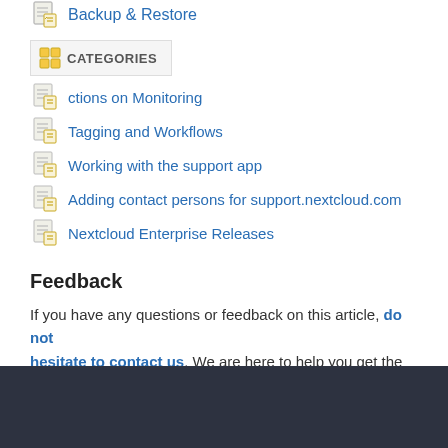Backup & Restore
…ctions on Monitoring
Tagging and Workflows
Working with the support app
Adding contact persons for support.nextcloud.com
Nextcloud Enterprise Releases
Feedback
If you have any questions or feedback on this article, do not hesitate to contact us. We are here to help you get the most out of Nextcloud.